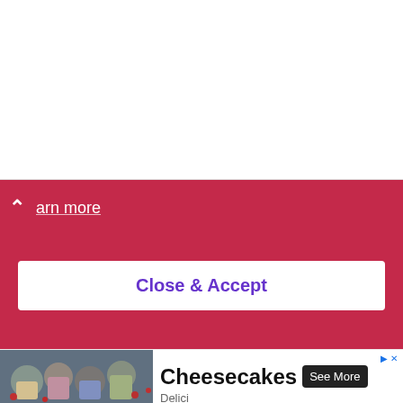Cheesecakes
The finest Belgian Chocolate Mousse from Belgian beans made with Belgian expertise. Delici
See More
arn more
Close & Accept
[Figure (photo): Bowl of creamy macaroni pasta salad with red and green vegetable pieces, served in a white bowl on a blue cloth background]
x
[Figure (photo): Small glass jars filled with cheesecake desserts, garnished with berries and toppings, arranged on a marble surface]
Cheesecakes
See More
Delici